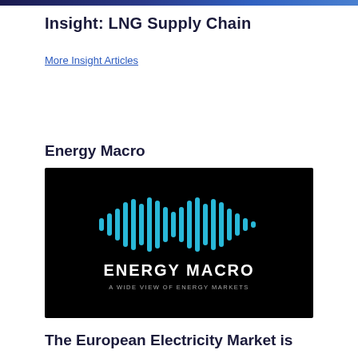Insight: LNG Supply Chain
More Insight Articles
Energy Macro
[Figure (logo): Energy Macro logo on black background — sound wave / bar chart waveform graphic in cyan/blue, with text 'ENERGY MACRO' in white bold and subtitle 'A WIDE VIEW OF ENERGY MARKETS' in light gray.]
The European Electricity Market is